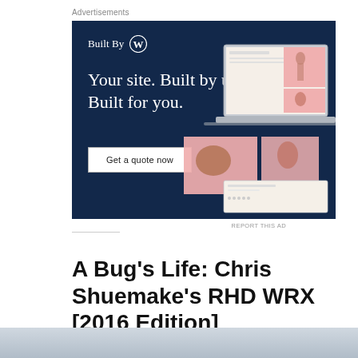Advertisements
[Figure (screenshot): WordPress 'Built By WP' advertisement banner with dark navy background. Shows 'Built By' text with WordPress logo, headline 'Your site. Built by us. Built for you.', a 'Get a quote now' button, and an illustration of a laptop/website mockup with fashion photos on pink backgrounds.]
REPORT THIS AD
A Bug's Life: Chris Shuemake's RHD WRX [2016 Edition]
[Figure (photo): Bottom edge of a photo showing what appears to be a vehicle or outdoor scene, blue-grey tones.]